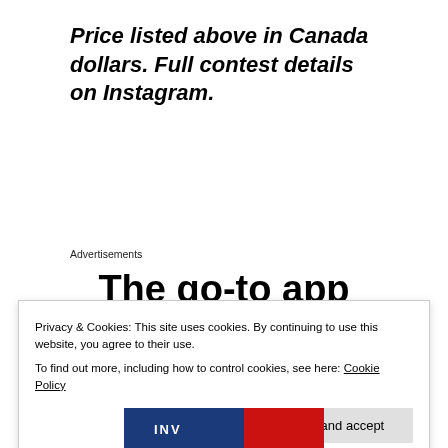Price listed above in Canada dollars. Full contest details on Instagram.
Advertisements
The go-to app
Privacy & Cookies: This site uses cookies. By continuing to use this website, you agree to their use.
To find out more, including how to control cookies, see here: Cookie Policy
Close and accept